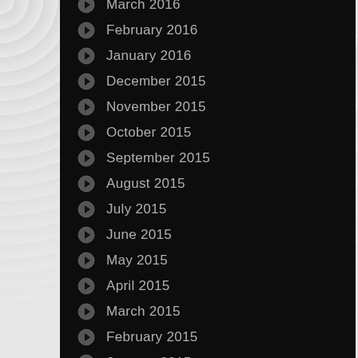March 2016
February 2016
January 2016
December 2015
November 2015
October 2015
September 2015
August 2015
July 2015
June 2015
May 2015
April 2015
March 2015
February 2015
January 2015
December 2014